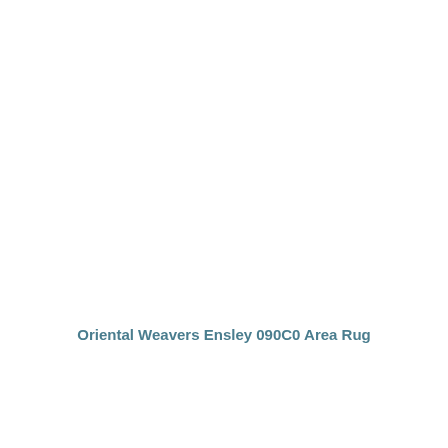Oriental Weavers Ensley 090C0 Area Rug